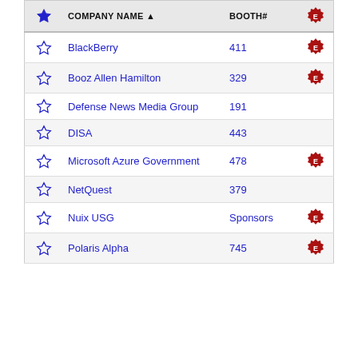| ★ | COMPANY NAME ▲ | BOOTH# | E |
| --- | --- | --- | --- |
| ☆ | BlackBerry | 411 | E |
| ☆ | Booz Allen Hamilton | 329 | E |
| ☆ | Defense News Media Group | 191 |  |
| ☆ | DISA | 443 |  |
| ☆ | Microsoft Azure Government | 478 | E |
| ☆ | NetQuest | 379 |  |
| ☆ | Nuix USG | Sponsors | E |
| ☆ | Polaris Alpha | 745 | E |